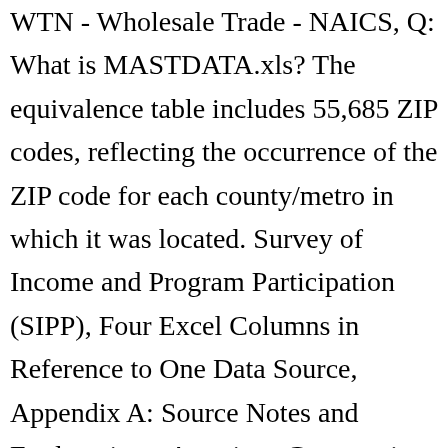WTN - Wholesale Trade - NAICS, Q: What is MASTDATA.xls? The equivalence table includes 55,685 ZIP codes, reflecting the occurrence of the ZIP code for each county/metro in which it was located. Survey of Income and Program Participation (SIPP), Four Excel Columns in Reference to One Data Source, Appendix A: Source Notes and Explanations, American Community Survey - Methodology - Glossary of Terms, USA Counties: Basic Information and File Formats, USA Counties: 2011 with Margin of Error (MOE), NOTE: More detail about data